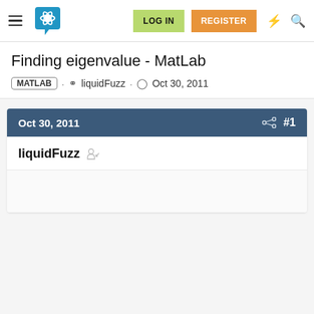LOG IN  REGISTER
Finding eigenvalue - MatLab
MATLAB · liquidFuzz · Oct 30, 2011
Oct 30, 2011  #1
liquidFuzz